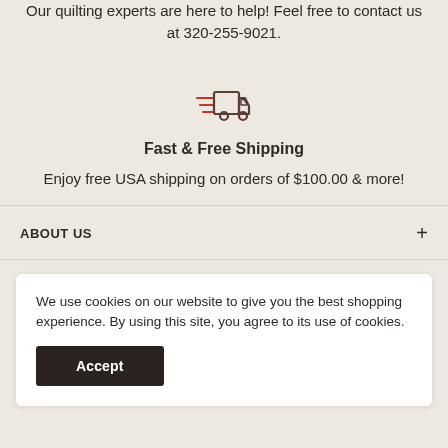Our quilting experts are here to help! Feel free to contact us at 320-255-9021.
[Figure (illustration): Fast delivery truck icon with speed lines, in red/brown outline style]
Fast & Free Shipping
Enjoy free USA shipping on orders of $100.00 & more!
ABOUT US
We use cookies on our website to give you the best shopping experience. By using this site, you agree to its use of cookies.